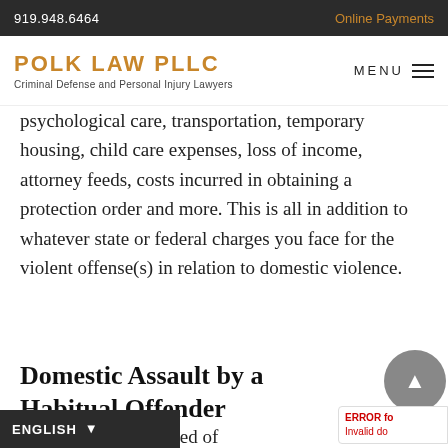919.948.6464 | Online Payments
POLK LAW PLLC
Criminal Defense and Personal Injury Lawyers
psychological care, transportation, temporary housing, child care expenses, loss of income, attorney feeds, costs incurred in obtaining a protection order and more. This is all in addition to whatever state or federal charges you face for the violent offense(s) in relation to domestic violence.
Domestic Assault by a Habitual Offender
son had been convicted of